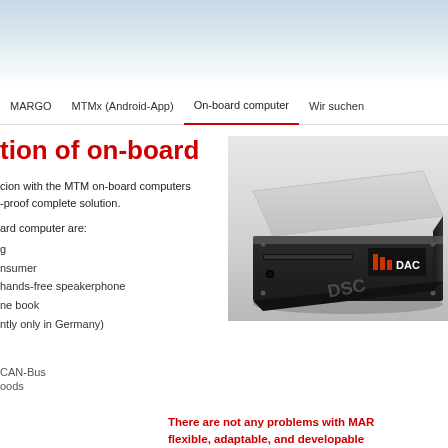[Figure (photo): Top header with light blue gradient background, sky-like appearance]
MARGO   MTMx (Android-App)   On-board computer   Wir suchen
tion of on-board
cion with the MTM on-board computers -proof complete solution.
ard computer are:
g
nsumer
hands-free speakerphone
ne book
ntly only in Germany)
CAN-Bus
oods
[Figure (photo): DAC branded on-board computer hardware device, black metal box with silver top, DAC logo in red/orange, product photo on grey gradient background]
There are not any problems with MAR flexible, adaptable, and developable